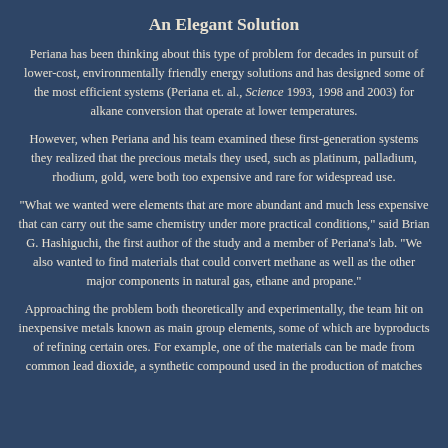An Elegant Solution
Periana has been thinking about this type of problem for decades in pursuit of lower-cost, environmentally friendly energy solutions and has designed some of the most efficient systems (Periana et. al., Science 1993, 1998 and 2003) for alkane conversion that operate at lower temperatures.
However, when Periana and his team examined these first-generation systems they realized that the precious metals they used, such as platinum, palladium, rhodium, gold, were both too expensive and rare for widespread use.
“What we wanted were elements that are more abundant and much less expensive that can carry out the same chemistry under more practical conditions,” said Brian G. Hashiguchi, the first author of the study and a member of Periana’s lab. “We also wanted to find materials that could convert methane as well as the other major components in natural gas, ethane and propane.”
Approaching the problem both theoretically and experimentally, the team hit on inexpensive metals known as main group elements, some of which are byproducts of refining certain ores. For example, one of the materials can be made from common lead dioxide, a synthetic compound used in the production of matches